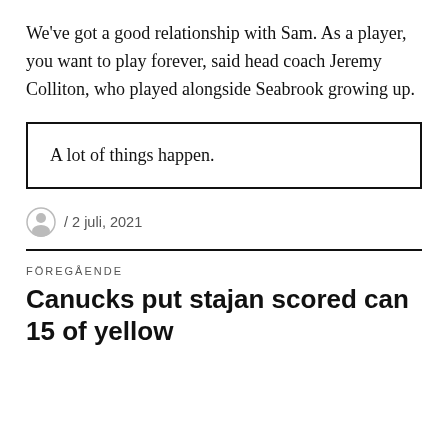We've got a good relationship with Sam. As a player, you want to play forever, said head coach Jeremy Colliton, who played alongside Seabrook growing up.
A lot of things happen.
/ 2 juli, 2021
FÖREGÅENDE
Canucks put stajan scored can 15 of yellow